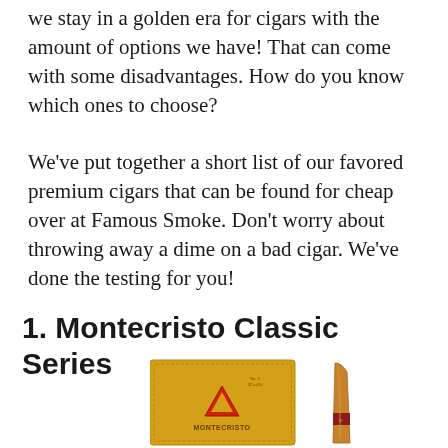we stay in a golden era for cigars with the amount of options we have! That can come with some disadvantages. How do you know which ones to choose?
We've put together a short list of our favored premium cigars that can be found for cheap over at Famous Smoke. Don't worry about throwing away a dime on a bad cigar. We've done the testing for you!
1. Montecristo Classic Series
[Figure (photo): Montecristo Classic Series cigar box (yellow, with triangle logo and MONTECRISTO text) alongside a single cigar with pointed tip and Montecristo band]